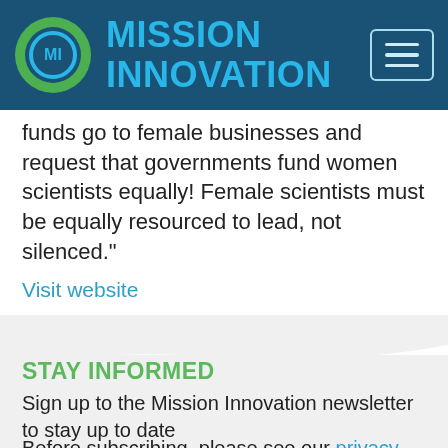MISSION INNOVATION
funds go to female businesses and request that governments fund women scientists equally! Female scientists must be equally resourced to lead, not silenced."
Visit website
STAY INFORMED
Sign up to the Mission Innovation newsletter to stay up to date
Before subscribing, please see our privacy notice